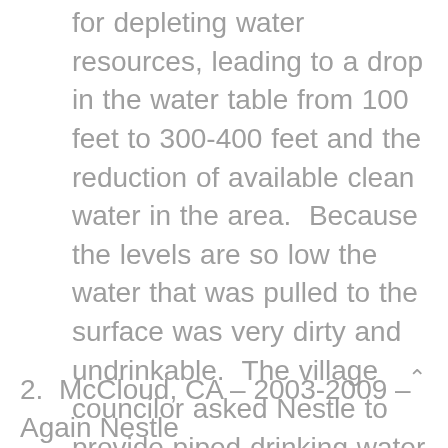for depleting water resources, leading to a drop in the water table from 100 feet to 300-400 feet and the reduction of available clean water in the area.  Because the levels are so low the water that was pulled to the surface was very dirty and undrinkable.  The village councilor asked Nestle to provide piped drinking water to the village, a request that was denied.  Pretty smart move huh?  Come in, pump the ground water to a point that villages are suffering from water shortages, bottled that water, and sell it back to the people now that they have no other option for water.
2. McCloud, CA – 2003-2009 – Again Nestle